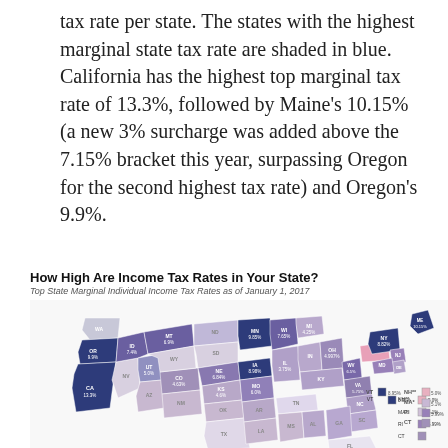tax rate per state. The states with the highest marginal state tax rate are shaded in blue. California has the highest top marginal tax rate of 13.3%, followed by Maine's 10.15% (a new 3% surcharge was added above the 7.15% bracket this year, surpassing Oregon for the second highest tax rate) and Oregon's 9.9%.
How High Are Income Tax Rates in Your State?
Top State Marginal Individual Income Tax Rates as of January 1, 2017
[Figure (map): US choropleth map showing top state marginal individual income tax rates as of January 1, 2017. States shaded in dark navy blue have the highest rates. States labeled include: CA 13.3%, OR 9.9%, ME 10.15%, MN 9.85%, MT 6.9%, ID 7.4%, UT 5.0%, CO 4.63%, KS 4.6%, MO 6.0% (approx), IA 8.98%, NE 6.84%, ND (unlabeled), SD (unlabeled), WI 7.65%, MI 4.25%, OH 4.997%, WV 6.5%, VA 5.75%, NY 8.82%, PA (pink), VT 8.95%, NH 5.0%, MA 5.1%, RI 5.99%, CT (labeled). Legend shows color scale from light pink/gray (no tax or low) to dark navy (highest). Small inset boxes on right show VT 8.95%, NH** 5.0%, MA* 5.1%, RI 5.99%.]